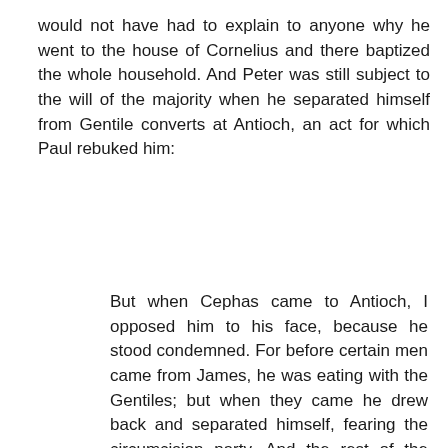would not have had to explain to anyone why he went to the house of Cornelius and there baptized the whole household. And Peter was still subject to the will of the majority when he separated himself from Gentile converts at Antioch, an act for which Paul rebuked him:
But when Cephas came to Antioch, I opposed him to his face, because he stood condemned. For before certain men came from James, he was eating with the Gentiles; but when they came he drew back and separated himself, fearing the circumcision party. And the rest of the Jews acted hypocritically along with him, so that even Barnabas was led astray by their hypocrisy. But when I saw that their conduct was not in step with the truth of the gospel, I said to Cephas before them all, "If you, though a Jew, live like a Gentile and not like